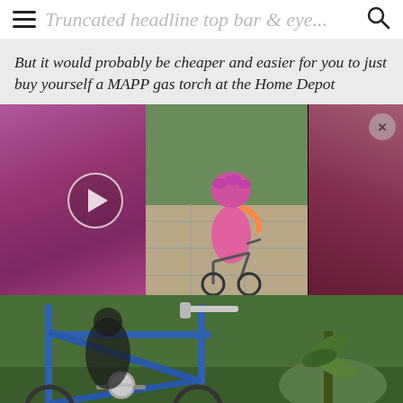Truncated headline top bar & search icon
But it would probably be cheaper and easier for you to just buy yourself a MAPP gas torch at the Home Depot
[Figure (photo): Video thumbnail showing a young child wearing a pink helmet and pink outfit riding a small bicycle on a paved outdoor path. A blurred pink/magenta background appears on the left and right sides. A circular play button is visible on the left side. A close (×) button appears in the top right corner.]
[Figure (photo): Close-up photo of a blue bicycle frame with chrome handlebars, pedal mechanism and wheel visible, parked on grass with some green plants in the background.]